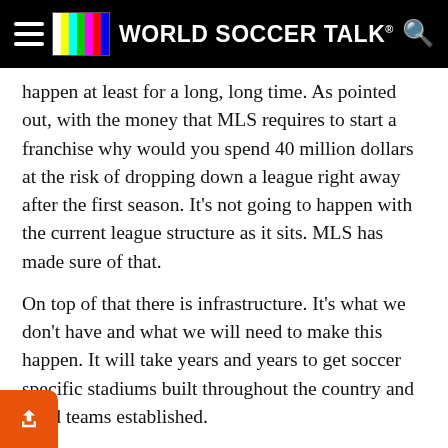World Soccer Talk
happen at least for a long, long time. As pointed out, with the money that MLS requires to start a franchise why would you spend 40 million dollars at the risk of dropping down a league right away after the first season. It's not going to happen with the current league structure as it sits. MLS has made sure of that.
On top of that there is infrastructure. It's what we don't have and what we will need to make this happen. It will take years and years to get soccer specific stadiums built throughout the country and good teams established.
For those that made comments about not being enough room for MLS and USL, what color of Don Garber Koolaid have you been drinking? Look around the world. The majority of leagues and teams are not super leagues like the EPL, or La Liga. They are small lower divisions. They are everywhere in the world, many having stadiums that hold anywhere from